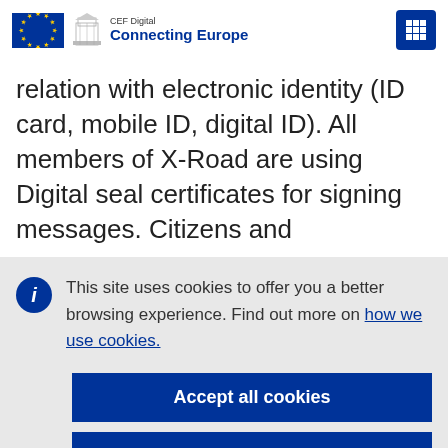[Figure (logo): CEF Digital Connecting Europe logo with EU flag and building icon]
relation with electronic identity (ID card, mobile ID, digital ID). All members of X-Road are using Digital seal certificates for signing messages. Citizens and
This site uses cookies to offer you a better browsing experience. Find out more on how we use cookies.
Accept all cookies
Accept only essential cookies